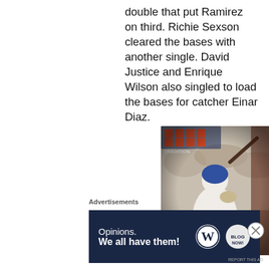double that put Ramirez on third. Richie Sexson cleared the bases with another single. David Justice and Enrique Wilson also singled to load the bases for catcher Einar Diaz.
[Figure (photo): Baseball player in white uniform holding a bat, wearing a helmet, with crowd in background. A trading card or collectible overlay is visible with text 'TRADITION'.]
Advertisements
[Figure (infographic): Dark navy advertisement banner reading 'Opinions. We all have them!' with WordPress logo and another circular logo on the right.]